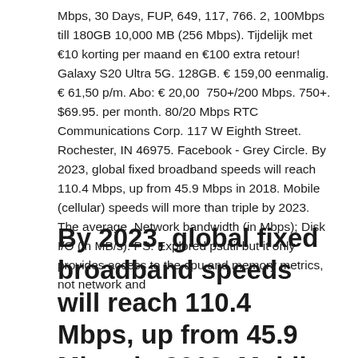Mbps, 30 Days, FUP, 649, 117, 766. 2, 100Mbps till 180GB 10,000 MB (256 Mbps). Tijdelijk met €10 korting per maand en €100 extra retour! Galaxy S20 Ultra 5G. 128GB. € 159,00 eenmalig. € 61,50 p/m. Abo: € 20,00  750+/200 Mbps. 750+. $69.95. per month. 80/20 Mbps RTC Communications Corp. 117 W Eighth Street. Rochester, IN 46975. Facebook - Grey Circle. By 2023, global fixed broadband speeds will reach 110.4 Mbps, up from 45.9 Mbps in 2018. Mobile (cellular) speeds will more than triple by 2023. The average  Network bandwidth (in Mbps); Disk I/O (in MB/s). PS: Explored psutil but it only provides access to the cpu and memory metrics, not network and
By 2023, global fixed broadband speeds will reach 110.4 Mbps, up from 45.9 Mbps in 2018. Mobile (cellular) speeds will more than triple